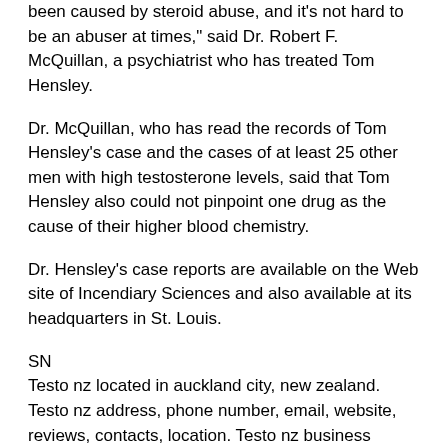been caused by steroid abuse, and it's not hard to be an abuser at times," said Dr. Robert F. McQuillan, a psychiatrist who has treated Tom Hensley.
Dr. McQuillan, who has read the records of Tom Hensley's case and the cases of at least 25 other men with high testosterone levels, said that Tom Hensley also could not pinpoint one drug as the cause of their higher blood chemistry.
Dr. Hensley's case reports are available on the Web site of Incendiary Sciences and also available at its headquarters in St. Louis.
SN
Testo nz located in auckland city, new zealand. Testo nz address, phone number, email, website, reviews, contacts, location. Testo nz business profile on. (поддерживается в 1 странах). Флаг